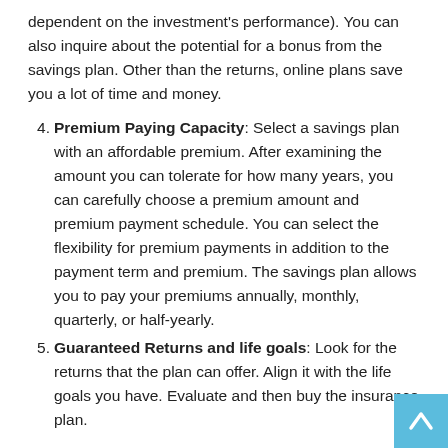dependent on the investment's performance). You can also inquire about the potential for a bonus from the savings plan. Other than the returns, online plans save you a lot of time and money.
4. Premium Paying Capacity: Select a savings plan with an affordable premium. After examining the amount you can tolerate for how many years, you can carefully choose a premium amount and premium payment schedule. You can select the flexibility for premium payments in addition to the payment term and premium. The savings plan allows you to pay your premiums annually, monthly, quarterly, or half-yearly.
5. Guaranteed Returns and life goals: Look for the returns that the plan can offer. Align it with the life goals you have. Evaluate and then buy the insurance plan.